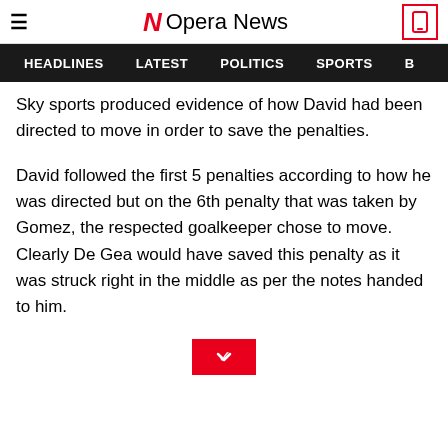≡  Opera News
HEADLINES  LATEST  POLITICS  SPORTS
Sky sports produced evidence of how David had been directed to move in order to save the penalties.
David followed the first 5 penalties according to how he was directed but on the 6th penalty that was taken by Gomez, the respected goalkeeper chose to move. Clearly De Gea would have saved this penalty as it was struck right in the middle as per the notes handed to him.